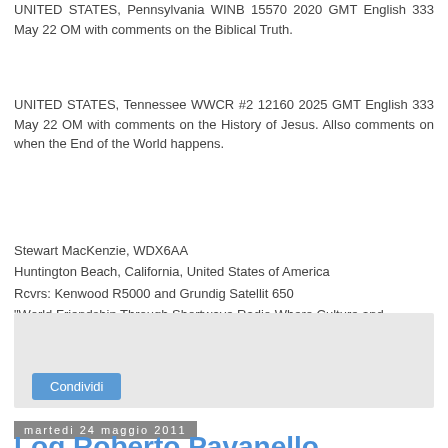UNITED STATES, Pennsylvania WINB 15570 2020 GMT English 333 May 22 OM with comments on the Biblical Truth.
UNITED STATES, Tennessee WWCR #2 12160 2025 GMT English 333 May 22 OM with comments on the History of Jesus. Allso comments on when the End of the World happens.
Stewart MacKenzie, WDX6AA
Huntington Beach, California, United States of America
Rcvrs: Kenwood R5000 and Grundig Satellit 650
"World Friendship Through Shortwave Radio Where Culture and Language Come Alive"
ASWLC: http://groups.yahoo.com/group/ASWLC
SCADS: http://groups.yahoo.com/group/SCADS
[Figure (other): Gray box with a 'Condividi' (Share) button]
martedi 24 maggio 2011
Log Roberto Pavanello